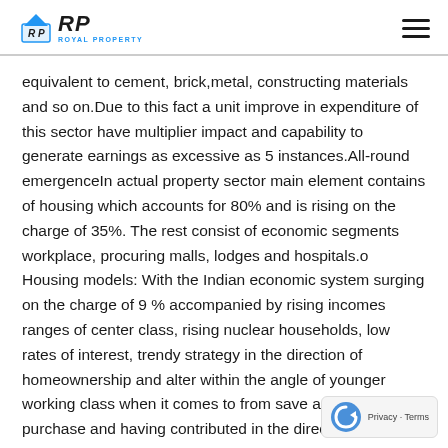ROYAL PROPERTY
equivalent to cement, brick,metal, constructing materials and so on.Due to this fact a unit improve in expenditure of this sector have multiplier impact and capability to generate earnings as excessive as 5 instances.All-round emergenceIn actual property sector main element contains of housing which accounts for 80% and is rising on the charge of 35%. The rest consist of economic segments workplace, procuring malls, lodges and hospitals.o Housing models: With the Indian economic system surging on the charge of 9 % accompanied by rising incomes ranges of center class, rising nuclear households, low rates of interest, trendy strategy in the direction of homeownership and alter within the angle of younger working class when it comes to from save and purchase to purchase and having contributed in the direction of hovering housing